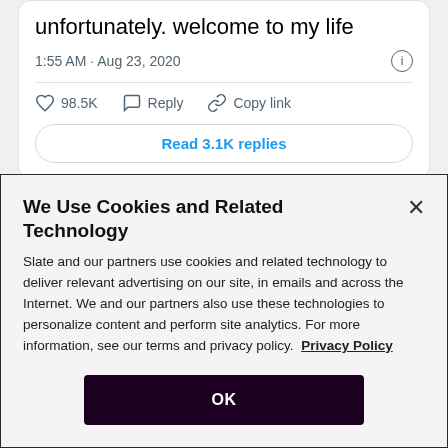unfortunately. welcome to my life
1:55 AM · Aug 23, 2020
98.5K  Reply  Copy link
Read 3.1K replies
We Use Cookies and Related Technology
Slate and our partners use cookies and related technology to deliver relevant advertising on our site, in emails and across the Internet. We and our partners also use these technologies to personalize content and perform site analytics. For more information, see our terms and privacy policy. Privacy Policy
OK